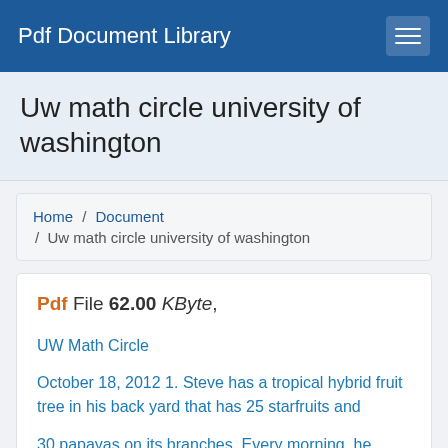Pdf Document Library
Uw math circle university of washington
Home / Document / Uw math circle university of washington
Pdf File 62.00 KByte,
UW Math Circle
October 18, 2012 1. Steve has a tropical hybrid fruit tree in his back yard that has 25 starfruits and
30 papayas on its branches. Every morning, he picks